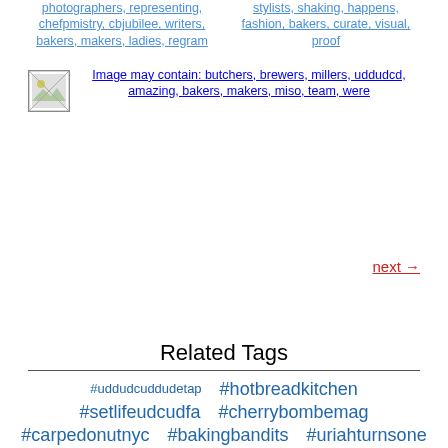photographers, representing, chefpmistry, cbjubilee, writers, bakers, makers, ladies, regram
stylists, shaking, happens, fashion, bakers, curate, visual, proof
[Figure (photo): Broken image placeholder with caption: Image may contain: butchers, brewers, millers, uddudcd, amazing, bakers, makers, miso, team, were]
next →
Related Tags
#uddudcuddudetap
#hotbreadkitchen
#setlifeudcudfa
#cherrybombemag
#carpedonutnyc
#bakingbandits
#uriahturnsone